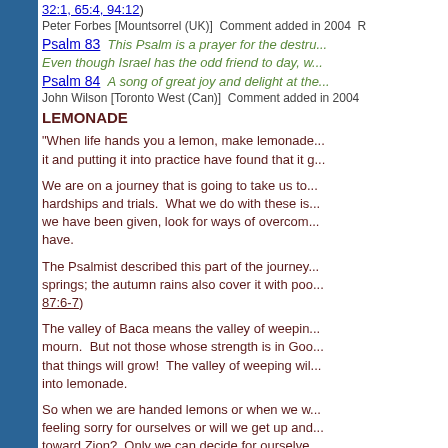32:1, 65:4, 94:12)
Peter Forbes [Mountsorrel (UK)]  Comment added in 2004  R
Psalm 83  This Psalm is a prayer for the destru... Even though Israel has the odd friend to day, w...
Psalm 84  A song of great joy and delight at the...
John Wilson [Toronto West (Can)]  Comment added in 2004
LEMONADE
"When life hands you a lemon, make lemonade... it and putting it into practice have found that it g...
We are on a journey that is going to take us to... hardships and trials.  What we do with these is... we have been given, look for ways of overcom... have.
The Psalmist described this part of the journey... springs; the autumn rains also cover it with poo... 87:6-7)
The valley of Baca means the valley of weepin... mourn.  But not those whose strength is in Goo... that things will grow!  The valley of weeping wil... into lemonade.
So when we are handed lemons or when we w... feeling sorry for ourselves or will we get up and... toward Zion?  Only we can decide for ourselve...
Robert Prins [Auckland - Pakuranga - (NZ)]  Comment addec...
The word "amiable" in Psa 84:1 is usually tran...